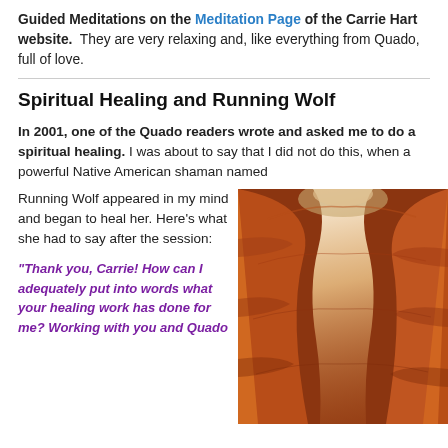Guided Meditations on the Meditation Page of the Carrie Hart website.  They are very relaxing and, like everything from Quado, full of love.
Spiritual Healing and Running Wolf
In 2001, one of the Quado readers wrote and asked me to do a spiritual healing. I was about to say that I did not do this, when a powerful Native American shaman named Running Wolf appeared in my mind and began to heal her. Here's what she had to say after the session:
[Figure (photo): Photo of a narrow slot canyon with orange-red sandstone walls lit by sunlight streaming from above, showing flowing curved rock formations]
“Thank you, Carrie! How can I adequately put into words what your healing work has done for me? Working with you and Quado